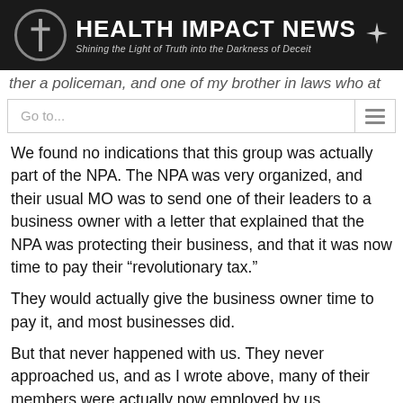[Figure (logo): Health Impact News banner with circular cross logo on left, star on right, title 'HEALTH IMPACT NEWS' and subtitle 'Shining the Light of Truth into the Darkness of Deceit' on dark background]
ther a policeman, and one of my brother in laws who at
Go to...
We found no indications that this group was actually part of the NPA. The NPA was very organized, and their usual MO was to send one of their leaders to a business owner with a letter that explained that the NPA was protecting their business, and that it was now time to pay their “revolutionary tax.”
They would actually give the business owner time to pay it, and most businesses did.
But that never happened with us. They never approached us, and as I wrote above, many of their members were actually now employed by us producing coconut oil. They loved us.
This group was apparently a kidnap-for-ransom group that